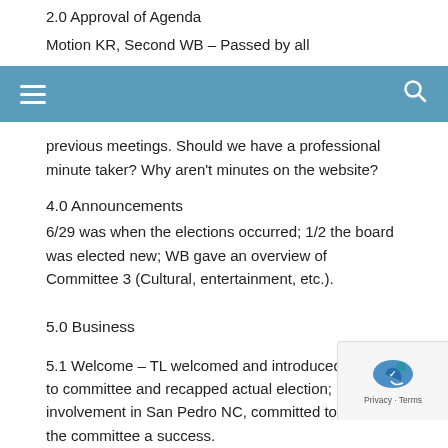2.0 Approval of Agenda
Motion KR, Second WB – Passed by all
[Figure (other): Navigation bar with hamburger menu icon on left and search icon on right, blue/teal background]
previous meetings. Should we have a professional minute taker? Why aren't minutes on the website?
4.0 Announcements
6/29 was when the elections occurred; 1/2 the board was elected new; WB gave an overview of Committee 3 (Cultural, entertainment, etc.).
5.0 Business
5.1 Welcome – TL welcomed and introduced herself to committee and recapped actual election; involvement in San Pedro NC, committed to making the committee a success.
5.2 Opening Remarks from Chair – Wants to make a difference city, consider reviewing mission statement, critical we accompli tonight so we can earmark budget money for Committees 2 and 3;